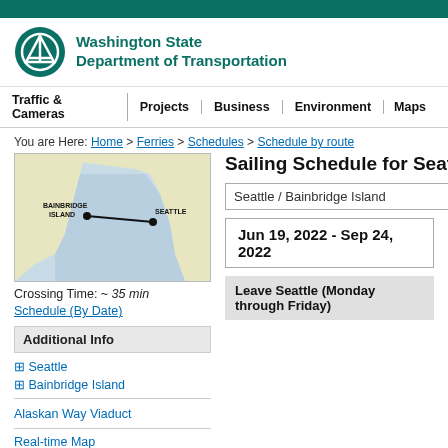Washington State Department of Transportation
Traffic & Cameras | Projects | Business | Environment | Maps
You are Here: Home > Ferries > Schedules > Schedule by route
[Figure (map): Map showing ferry route between Bainbridge Island and Seattle with a line connecting the two points across Puget Sound.]
Crossing Time: ~ 35 min
Schedule (By Date)
Sailing Schedule for Seattle / Bainbridge Island
Seattle / Bainbridge Island
Jun 19, 2022 - Sep 24, 2022
Additional Info
⊞ Seattle
⊞ Bainbridge Island
Alaskan Way Viaduct
Real-time Map
Leave Seattle (Monday through Friday)